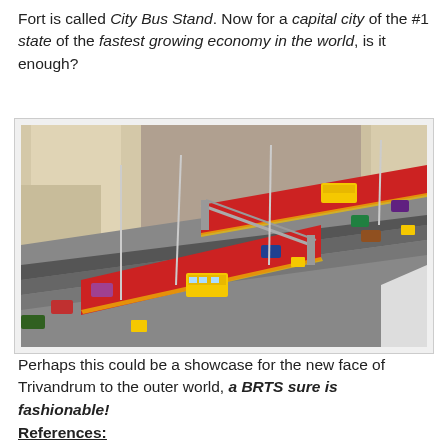Fort is called City Bus Stand. Now for a capital city of the #1 state of the fastest growing economy in the world, is it enough?
[Figure (photo): Architectural scale model or 3D rendering of a Bus Rapid Transit System (BRTS) showing elevated bus stations with red canopies, yellow buses, and multiple lanes of traffic with surrounding buildings.]
Perhaps this could be a showcase for the new face of Trivandrum to the outer world, a BRTS sure is fashionable!
References: